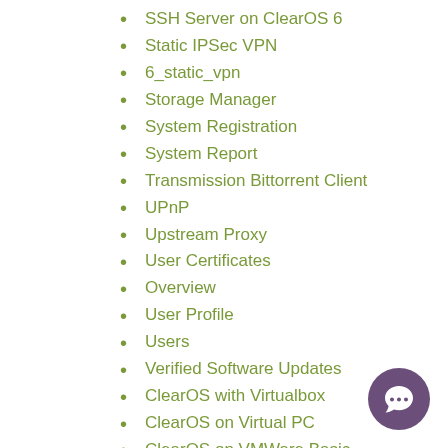SSH Server on ClearOS 6
Static IPSec VPN
6_static_vpn
Storage Manager
System Registration
System Report
Transmission Bittorrent Client
UPnP
Upstream Proxy
User Certificates
Overview
User Profile
Users
Verified Software Updates
ClearOS with Virtualbox
ClearOS on Virtual PC
ClearOS on VMWare Basic
ClearOS on VMWare Enterprise
Web Access Control
Web Proxy